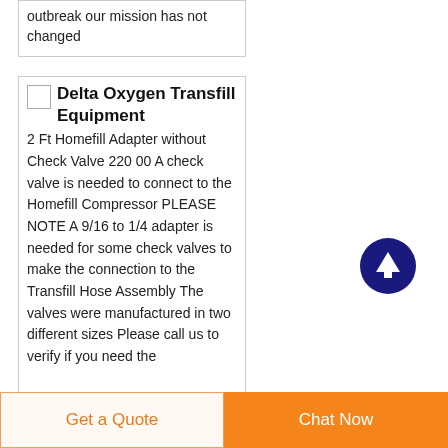outbreak our mission has not changed
Delta Oxygen Transfill Equipment
2 Ft Homefill Adapter without Check Valve 220 00 A check valve is needed to connect to the Homefill Compressor PLEASE NOTE A 9/16 to 1/4 adapter is needed for some check valves to make the connection to the Transfill Hose Assembly The valves were manufactured in two different sizes Please call us to verify if you need the
[Figure (other): Orange and dark blue circular scroll-to-top button with upward arrow]
Get a Quote
Chat Now